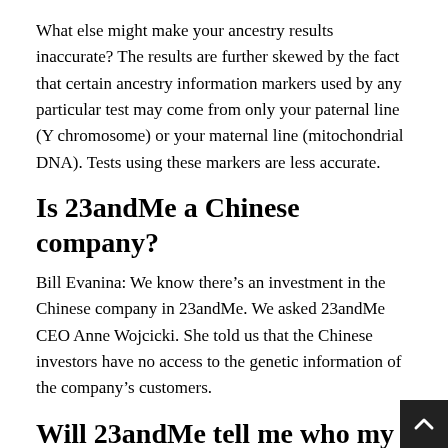What else might make your ancestry results inaccurate? The results are further skewed by the fact that certain ancestry information markers used by any particular test may come from only your paternal line (Y chromosome) or your maternal line (mitochondrial DNA). Tests using these markers are less accurate.
Is 23andMe a Chinese company?
Bill Evanina: We know there’s an investment in the Chinese company in 23andMe. We asked 23andMe CEO Anne Wojcicki. She told us that the Chinese investors have no access to the genetic information of the company’s customers.
Will 23andMe tell me who my father is?
23andMe can give you a glimpse at your biological parents’ DNA simply by showing you your own. You